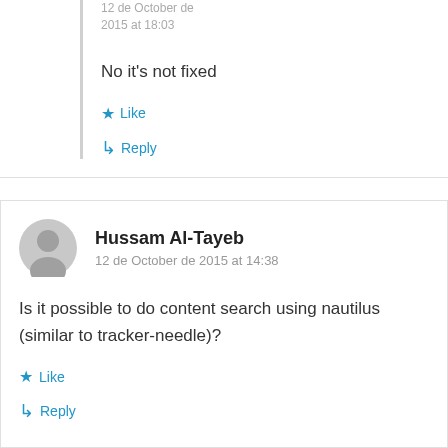12 de October de 2015 at 18:03
No it’s not fixed
★ Like
↳ Reply
Hussam Al-Tayeb
12 de October de 2015 at 14:38
Is it possible to do content search using nautilus (similar to tracker-needle)?
★ Like
↳ Reply